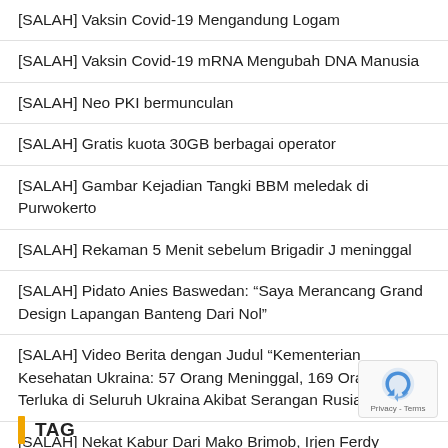[SALAH] Vaksin Covid-19 Mengandung Logam
[SALAH] Vaksin Covid-19 mRNA Mengubah DNA Manusia
[SALAH] Neo PKI bermunculan
[SALAH] Gratis kuota 30GB berbagai operator
[SALAH] Gambar Kejadian Tangki BBM meledak di Purwokerto
[SALAH] Rekaman 5 Menit sebelum Brigadir J meninggal
[SALAH] Pidato Anies Baswedan: “Saya Merancang Grand Design Lapangan Banteng Dari Nol”
[SALAH] Video Berita dengan Judul “Kementerian Kesehatan Ukraina: 57 Orang Meninggal, 169 Orang Terluka di Seluruh Ukraina Akibat Serangan Rusia”
[SALAH] Nekat Kabur Dari Mako Brimob, Irjen Ferdy Sambo Langsung di Door di Tempat
TAG